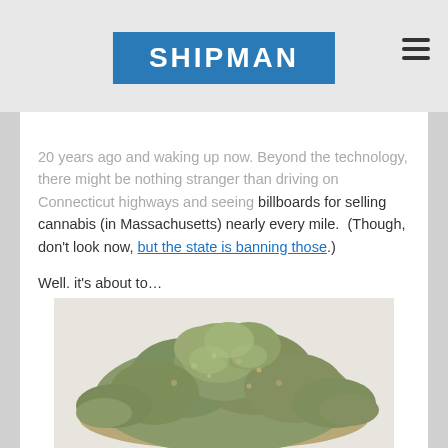SHIPMAN
20 years ago and waking up now. Beyond the technology, there might be nothing stranger than driving on Connecticut highways and seeing billboards for selling cannabis (in Massachusetts) nearly every mile.  (Though, don't look now, but the state is banning those.)
Well, it's about to…
[Figure (photo): A pile of cannabis/marijuana buds on a light background]
Legal Cannabis and Marijuana Poses